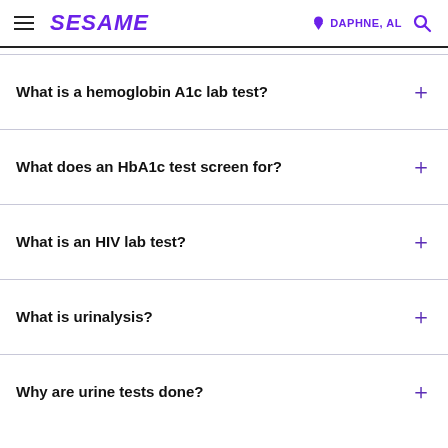SESAME  DAPHNE, AL
What is a hemoglobin A1c lab test?
What does an HbA1c test screen for?
What is an HIV lab test?
What is urinalysis?
Why are urine tests done?